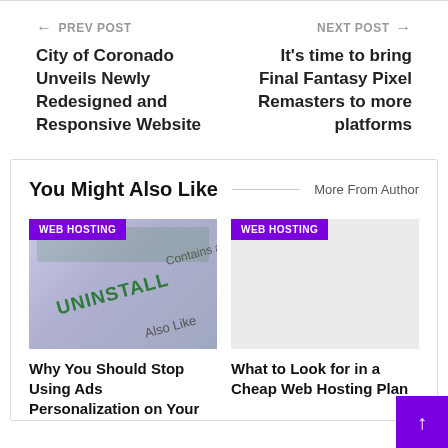← PREV POST
City of Coronado Unveils Newly Redesigned and Responsive Website
NEXT POST →
It's time to bring Final Fantasy Pixel Remasters to more platforms
You Might Also Like
More From Author
[Figure (photo): Image showing an UNINSTALL button with text overlay, purple WEB HOSTING tag]
WEB HOSTING
Why You Should Stop Using Ads Personalization on Your
[Figure (photo): Light gray placeholder image with purple WEB HOSTING tag]
WEB HOSTING
What to Look for in a Cheap Web Hosting Plan